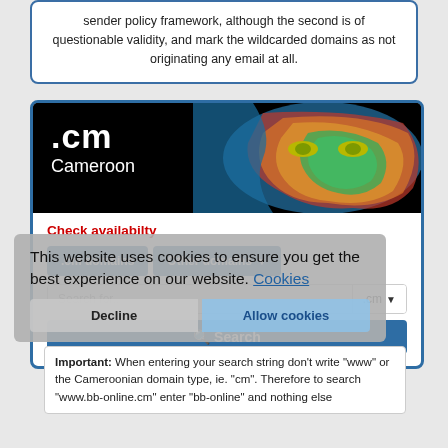sender policy framework, although the second is of questionable validity, and mark the wildcarded domains as not originating any email at all.
[Figure (screenshot): Screenshot of .cm Cameroon domain registration website showing a banner with .cm and Cameroon text over a dark background with an illustrated face painted with Africa map. Below are domain search UI elements including '.cm domains' and 'Other domains' buttons, a search input field, a search button, and a cookie consent overlay with Decline and Allow cookies buttons, plus an Important notice about search string formatting.]